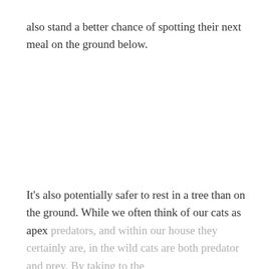also stand a better chance of spotting their next meal on the ground below.
It's also potentially safer to rest in a tree than on the ground. While we often think of our cats as apex predators, and within our house they certainly are, in the wild cats are both predator and prey. By taking to the